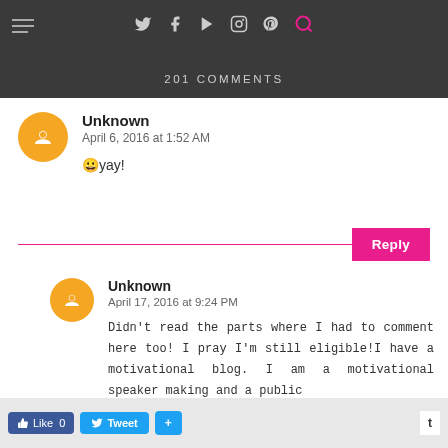201 COMMENTS
Unknown
April 6, 2016 at 1:52 AM
😊yay!
Reply
Unknown
April 17, 2016 at 9:24 PM
Didn't read the parts where I had to comment here too! I pray I'm still eligible!I have a motivational blog. I am a motivational speaker making and a public